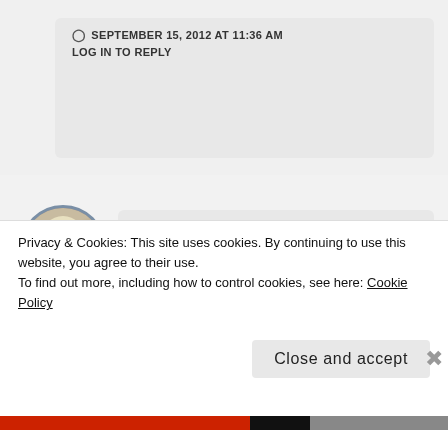SEPTEMBER 15, 2012 AT 11:36 AM
LOG IN TO REPLY
C. L. Blacke
My friend tuned me into open submission call for Harper Voyager. Now I have to set the procrastination
Privacy & Cookies: This site uses cookies. By continuing to use this website, you agree to their use.
To find out more, including how to control cookies, see here: Cookie Policy
Close and accept